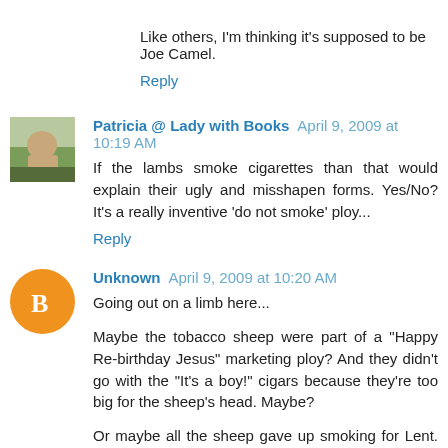Like others, I'm thinking it's supposed to be Joe Camel.
Reply
Patricia @ Lady with Books   April 9, 2009 at 10:19 AM
If the lambs smoke cigarettes than that would explain their ugly and misshapen forms. Yes/No? It's a really inventive 'do not smoke' ploy...
Reply
Unknown   April 9, 2009 at 10:20 AM
Going out on a limb here...
Maybe the tobacco sheep were part of a "Happy Re-birthday Jesus" marketing ploy? And they didn't go with the "It's a boy!" cigars because they're too big for the sheep's head. Maybe?
Or maybe all the sheep gave up smoking for Lent. And